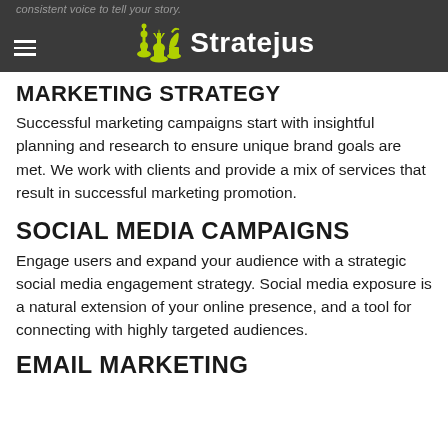Stratejus
consistent voice to tell our story.
MARKETING STRATEGY
Successful marketing campaigns start with insightful planning and research to ensure unique brand goals are met. We work with clients and provide a mix of services that result in successful marketing promotion.
SOCIAL MEDIA CAMPAIGNS
Engage users and expand your audience with a strategic social media engagement strategy. Social media exposure is a natural extension of your online presence, and a tool for connecting with highly targeted audiences.
EMAIL MARKETING